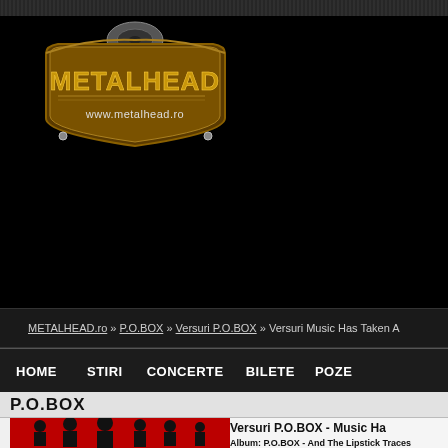[Figure (logo): METALHEAD logo with www.metalhead.ro text, gold/brown shield shape on black background]
METALHEAD.ro » P.O.BOX » Versuri P.O.BOX » Versuri Music Has Taken A
HOME   STIRI   CONCERTE   BILETE   POZE
P.O.BOX
[Figure (photo): Band photo of P.O.BOX members on red background]
Versuri P.O.BOX - Music Ha
Album: P.O.BOX - And The Lipstick Traces